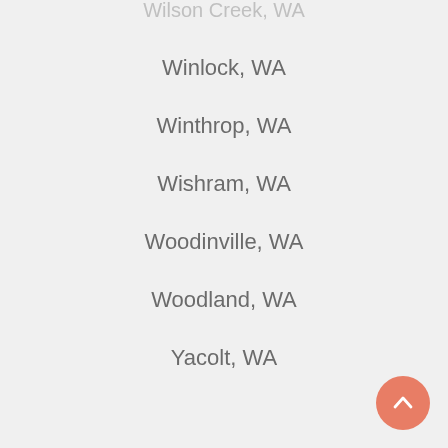Wilson Creek, WA
Winlock, WA
Winthrop, WA
Wishram, WA
Woodinville, WA
Woodland, WA
Yacolt, WA